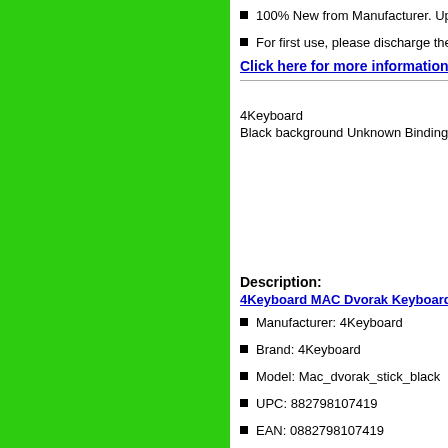100% New from Manufacturer. Up to 500 recharge cycles over electricity is required by the device and how you use it
For first use, please discharge the battery to 5%(not to 0%) and
Click here for more information
4Keyboard MAC Dvorak Keyboard Sticker Bl
4Keyboard
Black background Unknown Binding
[Figure (photo): Photo of a black MAC Dvorak keyboard sticker layout on black background]
Description:
4Keyboard MAC Dvorak Keyboard Sticker Black Background for
Manufacturer: 4Keyboard
Brand: 4Keyboard
Model: Mac_dvorak_stick_black
UPC: 882798107419
EAN: 0882798107419
PartNumber: Mac_dvorak_stick_black
Details:
Product Category: Unknown Binding
Physical Description: